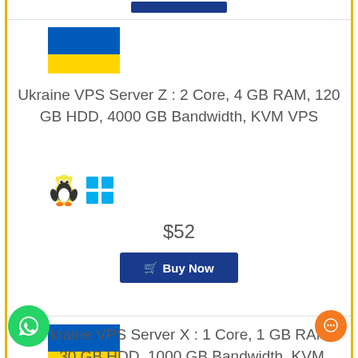[Figure (illustration): Partial blue 'Buy Now' button visible at top of page]
[Figure (illustration): Ukraine flag (blue and yellow horizontal stripes)]
Ukraine VPS Server Z : 2 Core, 4 GB RAM, 120 GB HDD, 4000 GB Bandwidth, KVM VPS
[Figure (illustration): Linux penguin and Windows logo OS icons]
$52
[Figure (illustration): Buy Now button with cart icon]
[Figure (illustration): Ukraine flag (blue and yellow horizontal stripes) for second product]
Ukraine VPS Server X : 1 Core, 1 GB RAM, 30 GB HDD, 1000 GB Bandwidth, KVM VPS